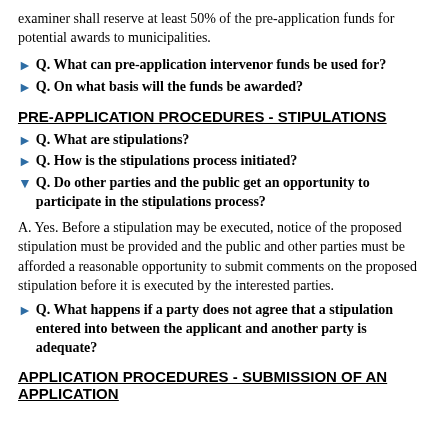examiner shall reserve at least 50% of the pre-application funds for potential awards to municipalities.
Q. What can pre-application intervenor funds be used for?
Q. On what basis will the funds be awarded?
PRE-APPLICATION PROCEDURES - STIPULATIONS
Q. What are stipulations?
Q. How is the stipulations process initiated?
Q. Do other parties and the public get an opportunity to participate in the stipulations process?
A. Yes. Before a stipulation may be executed, notice of the proposed stipulation must be provided and the public and other parties must be afforded a reasonable opportunity to submit comments on the proposed stipulation before it is executed by the interested parties.
Q. What happens if a party does not agree that a stipulation entered into between the applicant and another party is adequate?
APPLICATION PROCEDURES - SUBMISSION OF AN APPLICATION